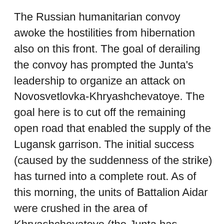The Russian humanitarian convoy awoke the hostilities from hibernation also on this front. The goal of derailing the convoy has prompted the Junta's leadership to organize an attack on Novosvetlovka-Khryashchevatoye. The goal here is to cut off the remaining open road that enabled the supply of the Lugansk garrison. The initial success (caused by the suddenness of the strike) has turned into a complete rout. As of this morning, the units of Battalion Aidar were crushed in the area of Khryashchevatoye (the Junta has admitted 22 dead and 36 wounded). In the area of Novosvetlovka, the units of the Ukrainian Armed Forces (totaling up to a company of tanks and a company of motorized infantry) sustained significant losses (losing up to half of the tanks). Right now, the LPR Army is engaged in artillery suppression and elimination of the entrenched grouping. A day or two, and